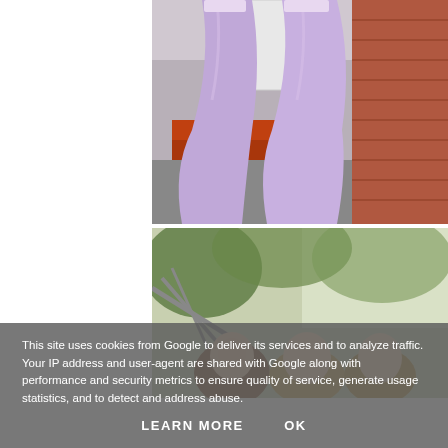[Figure (photo): Two people wearing long lavender/purple prom dresses standing outside in front of a white door and brick wall. Photo cropped to show from torso down.]
[Figure (photo): Three young women posing outdoors with trees and bright sky in the background. A hammock or chair structure is partially visible on the left.]
This site uses cookies from Google to deliver its services and to analyze traffic. Your IP address and user-agent are shared with Google along with performance and security metrics to ensure quality of service, generate usage statistics, and to detect and address abuse.
LEARN MORE    OK